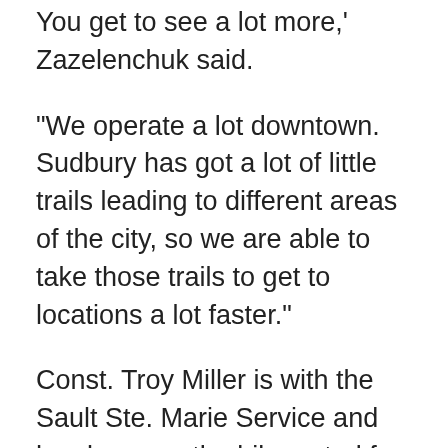You get to see a lot more,' Zazelenchuk said.
"We operate a lot downtown. Sudbury has got a lot of little trails leading to different areas of the city, so we are able to take those trails to get to locations a lot faster."
Const. Troy Miller is with the Sault Ste. Marie Service and has been on the bike patrol for 15 years. He came to Sudbury for the training.
"We get to connect on kind of a different level and a little more personal level when you are on the bike as opposed to driving by in a car," Miller said.
"So that is really great, to be able to stop and talk to people."
The bike patrol runs seasons from April to...